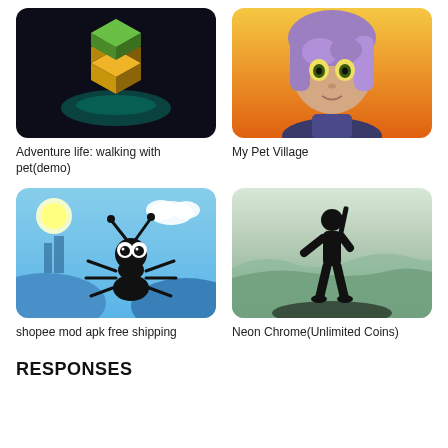[Figure (illustration): Adventure life: walking with pet(demo) app icon - 3D Minecraft-style block with green and gold colors on dark background]
Adventure life: walking with pet(demo)
[Figure (illustration): My Pet Village app icon - 3D animated female character with purple hair and yellow eyes on orange gradient background]
My Pet Village
[Figure (illustration): shopee mod apk free shipping app icon - cartoon black ant with big white eyes on blue sky background with rounded corners]
shopee mod apk free shipping
[Figure (illustration): Neon Chrome(Unlimited Coins) app icon - black silhouette of a person holding a gun/weapon on misty green landscape background]
Neon Chrome(Unlimited Coins)
RESPONSES